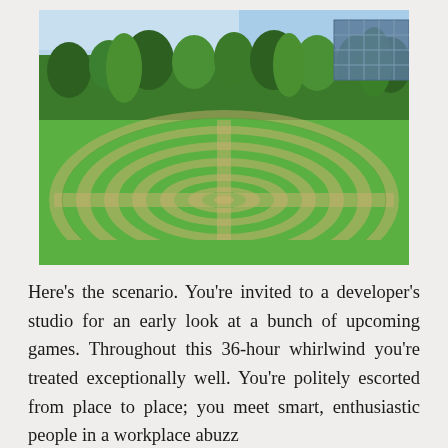[Figure (photo): Outdoor photo of a grass labyrinth or maze pattern mown into a lawn, with trees in the background and a modern glass building visible in the upper right. The scene is taken on a sunny day.]
Here's the scenario. You're invited to a developer's studio for an early look at a bunch of upcoming games. Throughout this 36-hour whirlwind you're treated exceptionally well. You're politely escorted from place to place; you meet smart, enthusiastic people in a workplace abuzz